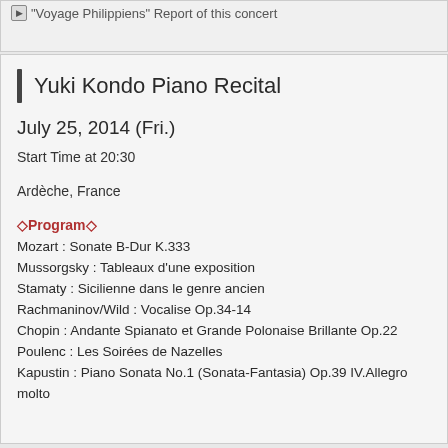"Voyage Philippiens" Report of this concert
Yuki Kondo Piano Recital
July 25, 2014 (Fri.)
Start Time at 20:30
Ardèche, France
◇Program◇
Mozart : Sonate B-Dur K.333
Mussorgsky : Tableaux d'une exposition
Stamaty : Sicilienne dans le genre ancien
Rachmaninov/Wild : Vocalise Op.34-14
Chopin : Andante Spianato et Grande Polonaise Brillante Op.22
Poulenc : Les Soirées de Nazelles
Kapustin : Piano Sonata No.1 (Sonata-Fantasia) Op.39 IV.Allegro molto